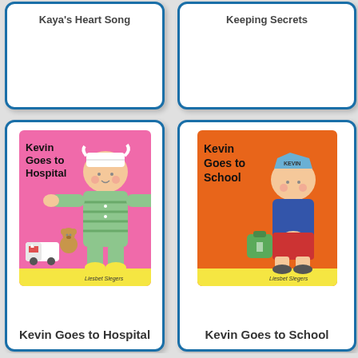Kaya's Heart Song
Keeping Secrets
[Figure (illustration): Book cover: Kevin Goes to Hospital by Liesbet Slegers. Pink background with a cartoon child in green striped pajamas with bandaged head and arms outstretched. Toy ambulance and teddy bear at feet. Yellow strip at bottom with author name.]
Kevin Goes to Hospital
[Figure (illustration): Book cover: Kevin Goes to School by Liesbet Slegers. Orange background with cartoon child in blue shirt and red shorts wearing a blue paper boat hat labeled KEVIN. Green schoolbag on ground. Yellow strip at bottom with author name.]
Kevin Goes to School
[Figure (illustration): Book cover: O. Perovskaya book with colorful illustrated cover showing children.]
[Figure (illustration): Book cover: The Killer's Tears by Anne-Laure Bondoux. Dark cover with large red title text and person's hair visible.]